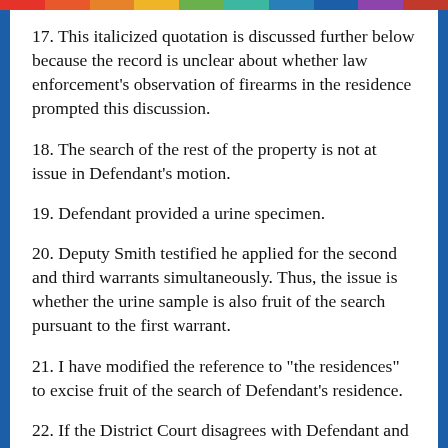17. This italicized quotation is discussed further below because the record is unclear about whether law enforcement's observation of firearms in the residence prompted this discussion.
18. The search of the rest of the property is not at issue in Defendant's motion.
19. Defendant provided a urine specimen.
20. Deputy Smith testified he applied for the second and third warrants simultaneously. Thus, the issue is whether the urine sample is also fruit of the search pursuant to the first warrant.
21. I have modified the reference to "the residences" to excise fruit of the search of Defendant's residence.
22. If the District Court disagrees with Defendant and finds the evidence at issue was acquired...